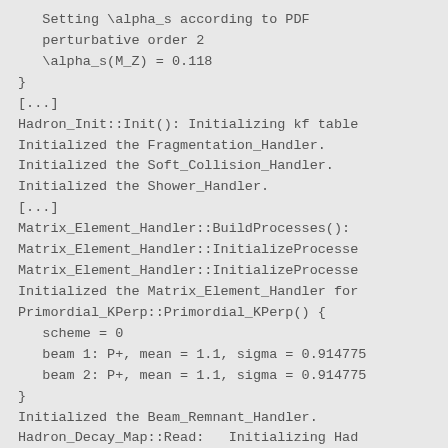Setting \alpha_s according to PDF
   perturbative order 2
   \alpha_s(M_Z) = 0.118
}
[...]
Hadron_Init::Init(): Initializing kf table
Initialized the Fragmentation_Handler.
Initialized the Soft_Collision_Handler.
Initialized the Shower_Handler.
[...]
Matrix_Element_Handler::BuildProcesses():
Matrix_Element_Handler::InitializeProcesse
Matrix_Element_Handler::InitializeProcesse
Initialized the Matrix_Element_Handler for
Primordial_KPerp::Primordial_KPerp() {
   scheme = 0
   beam 1: P+, mean = 1.1, sigma = 0.914775
   beam 2: P+, mean = 1.1, sigma = 0.914775
}
Initialized the Beam_Remnant_Handler.
Hadron_Decay_Map::Read:   Initializing Had
Initialized the Hadron_Decay_Handler, Deca
[...]